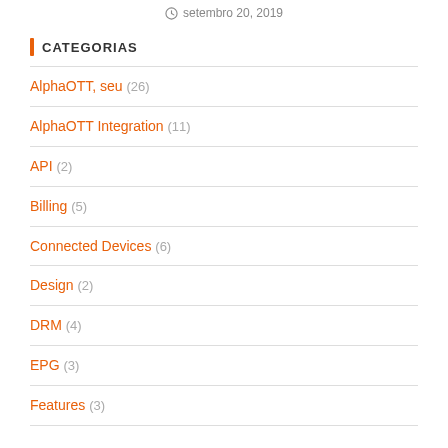setembro 20, 2019
CATEGORIAS
AlphaOTT, seu (26)
AlphaOTT Integration (11)
API (2)
Billing (5)
Connected Devices (6)
Design (2)
DRM (4)
EPG (3)
Features (3)